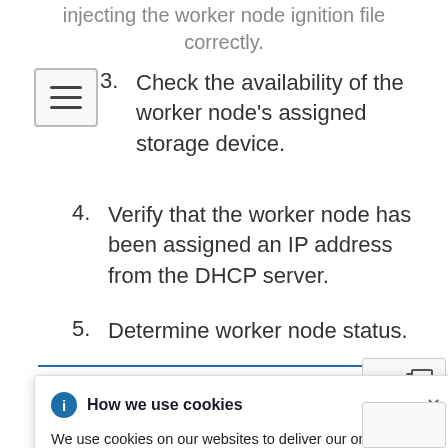injecting the worker node ignition file correctly.
3. Check the availability of the worker node's assigned storage device.
4. Verify that the worker node has been assigned an IP address from the DHCP server.
5. Determine worker node status.
How we use cookies
We use cookies on our websites to deliver our online services. Details about how we use cookies and how you may disable them are set out in our Privacy Statement. By using this website you agree to our use of cookies.